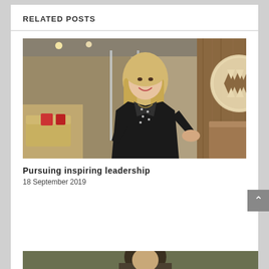RELATED POSTS
[Figure (photo): Professional woman with blonde hair wearing a black polka dot blouse and blazer, standing in a modern office lobby with a circular logo on the wall behind her]
Pursuing inspiring leadership
18 September 2019
[Figure (photo): Partial view of a second related post image at the bottom of the page]